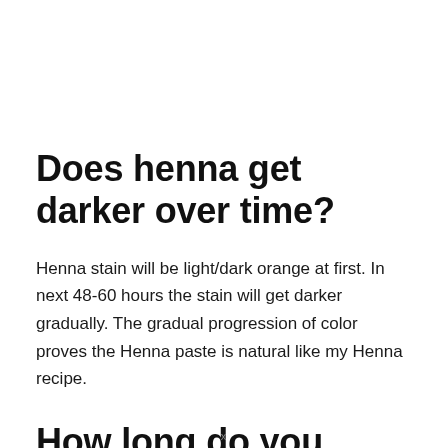Does henna get darker over time?
Henna stain will be light/dark orange at first. In next 48-60 hours the stain will get darker gradually. The gradual progression of color proves the Henna paste is natural like my Henna recipe.
How long do you leave henna